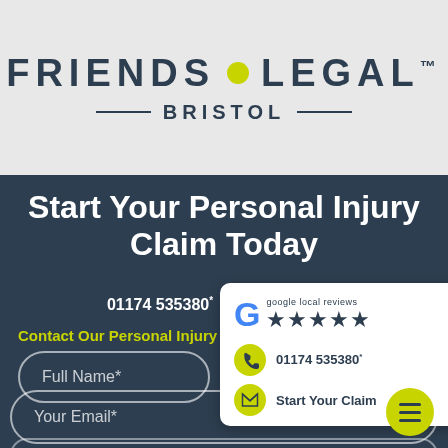[Figure (logo): Friends Legal Bristol logo with yellow dot between FRIENDS and LEGAL text, and BRISTOL subtitle with decorative dashes]
Start Your Personal Injury Claim Today
01174 535380*
Contact Our Personal Injury Cl...
Full Name*
[Figure (infographic): Google local reviews popup with 5 stars, phone number 01174 535380* and Start Your Claim button]
Your Email*
01174 535380*
Start Your Claim